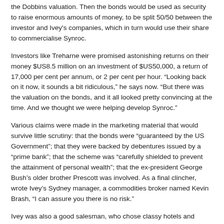the Dobbins valuation. Then the bonds would be used as security to raise enormous amounts of money, to be split 50/50 between the investor and Ivey's companies, which in turn would use their share to commercialise Synroc.
Investors like Treharne were promised astonishing returns on their money $US8.5 million on an investment of $US50,000, a return of 17,000 per cent per annum, or 2 per cent per hour. “Looking back on it now, it sounds a bit ridiculous,” he says now. “But there was the valuation on the bonds, and it all looked pretty convincing at the time. And we thought we were helping develop Synroc.”
Various claims were made in the marketing material that would survive little scrutiny: that the bonds were “guaranteed by the US Government”; that they were backed by debentures issued by a “prime bank”; that the scheme was “carefully shielded to prevent the attainment of personal wealth”; that the ex-president George Bush’s older brother Prescott was involved. As a final clincher, wrote Ivey’s Sydney manager, a commodities broker named Kevin Brash, “I can assure you there is no risk.”
Ivey was also a good salesman, who chose classy hotels and restaurants for meetings with potential investors. In July 1997, for instance, when Treharne is being wooed to buy a second bond, he